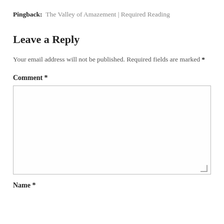Pingback: The Valley of Amazement | Required Reading
Leave a Reply
Your email address will not be published. Required fields are marked *
Comment *
Name *